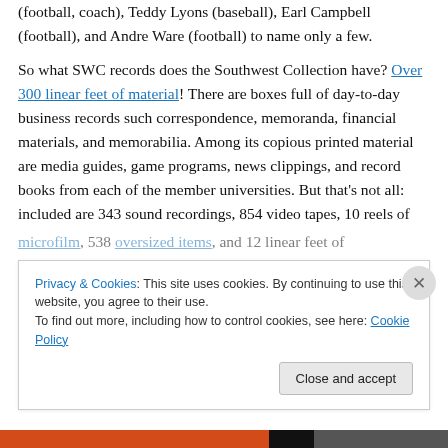(football, coach), Teddy Lyons (baseball), Earl Campbell (football), and Andre Ware (football) to name only a few.
So what SWC records does the Southwest Collection have? Over 300 linear feet of material! There are boxes full of day-to-day business records such correspondence, memoranda, financial materials, and memorabilia. Among its copious printed material are media guides, game programs, news clippings, and record books from each of the member universities. But that's not all: included are 343 sound recordings, 854 video tapes, 10 reels of microfilm, 538 oversized items, and 12 linear feet of
Privacy & Cookies: This site uses cookies. By continuing to use this website, you agree to their use.
To find out more, including how to control cookies, see here: Cookie Policy
Close and accept